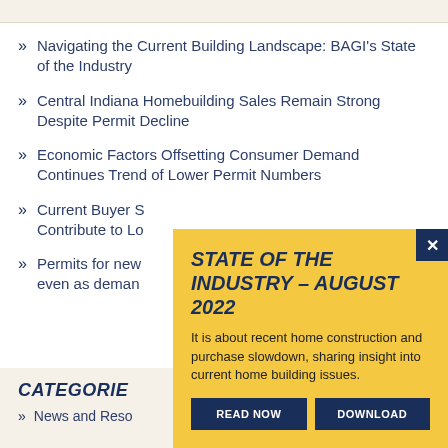Navigating the Current Building Landscape: BAGI's State of the Industry
Central Indiana Homebuilding Sales Remain Strong Despite Permit Decline
Economic Factors Offsetting Consumer Demand Continues Trend of Lower Permit Numbers
Current Buyer Sentiment and Factors Contribute to Lower Permit Numbers
Permits for new construction have fallen even as demand remains
CATEGORIES
News and Resources
[Figure (infographic): Yellow popup overlay with title 'STATE OF THE INDUSTRY – AUGUST 2022', descriptive text about recent home construction and purchase slowdown, and two dark navy buttons: READ NOW and DOWNLOAD, with a close X button in top right corner.]